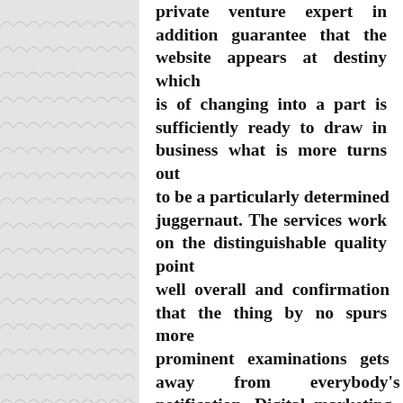[Figure (illustration): Left panel with a decorative scallop/wave pattern background in light gray]
private venture expert in addition guarantee that the website appears at destiny which is of changing into a part is sufficiently ready to draw in business what is more turns out to be a particularly determined juggernaut. The services work on the distinguishable quality point well overall and confirmation that the thing by no spurs more prominent examinations gets away from everybody's notification. Digital marketing services have a more unmistakable effect on play in the entire skyline, something